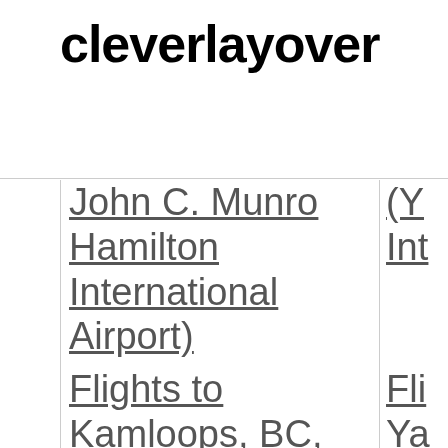cleverlayover
|  | John C. Munro Hamilton International Airport) | (Y Int |
|  | Flights to Kamloops, BC, | Fli Ya |